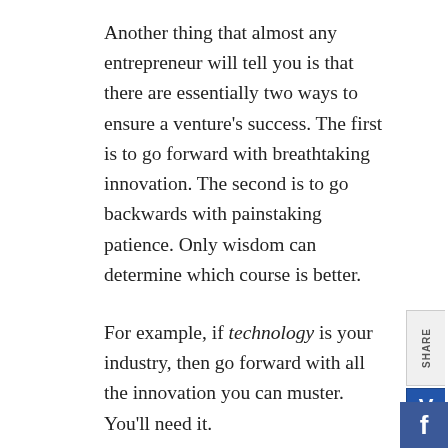Another thing that almost any entrepreneur will tell you is that there are essentially two ways to ensure a venture's success. The first is to go forward with breathtaking innovation. The second is to go backwards with painstaking patience. Only wisdom can determine which course is better.
For example, if technology is your industry, then go forward with all the innovation you can muster. You'll need it.
But if your goal is to open a Pâtisserie on Main St., then wisdom says you must go back, with painstaking patience, to discover how the best pastries in Europe have always been made. Both paths depend on discovery and innovation—but they move in very different directions.